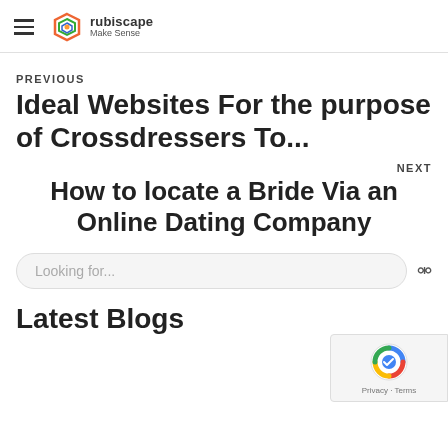rubiscape — Make Sense
PREVIOUS
Ideal Websites For the purpose of Crossdressers To...
NEXT
How to locate a Bride Via an Online Dating Company
Looking for...
Latest Blogs